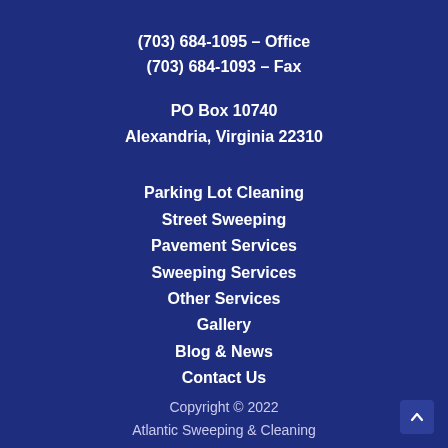(703) 684-1095 – Office
(703) 684-1093 – Fax
PO Box 10740
Alexandria, Virginia 22310
Parking Lot Cleaning
Street Sweeping
Pavement Services
Sweeping Services
Other Services
Gallery
Blog & News
Contact Us
Copyright © 2022
Atlantic Sweeping & Cleaning
Internet Presence by Scenic City Studios